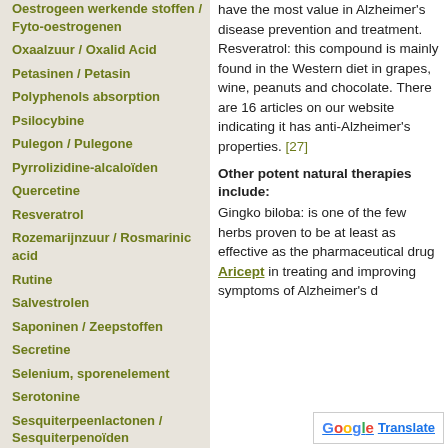Oestrogeen werkende stoffen / Fyto-oestrogenen
Oxaalzuur / Oxalid Acid
Petasinen / Petasin
Polyphenols absorption
Psilocybine
Pulegon / Pulegone
Pyrrolizidine-alcaloïden
Quercetine
Resveratrol
Rozemarijnzuur / Rosmarinic acid
Rutine
Salvestrolen
Saponinen / Zeepstoffen
Secretine
Selenium, sporenelement
Serotonine
Sesquiterpeenlactonen / Sesquiterpenoïden
have the most value in Alzheimer's disease prevention and treatment. Resveratrol: this compound is mainly found in the Western diet in grapes, wine, peanuts and chocolate. There are 16 articles on our website indicating it has anti-Alzheimer's properties. [27]
Other potent natural therapies include:
Gingko biloba: is one of the few herbs proven to be at least as effective as the pharmaceutical drug Aricept in treating and improving symptoms of Alzheimer's d…